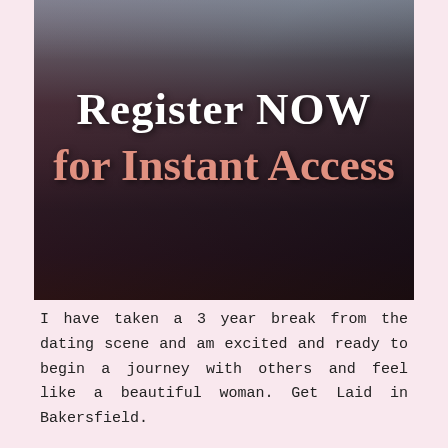[Figure (photo): A woman with red hair wearing a red top and black skirt, posed on a bed. The image serves as a background for a dating site advertisement with text overlay 'Register NOW for Instant Access'.]
I have taken a 3 year break from the dating scene and am excited and ready to begin a journey with others and feel like a beautiful woman. Get Laid in Bakersfield.